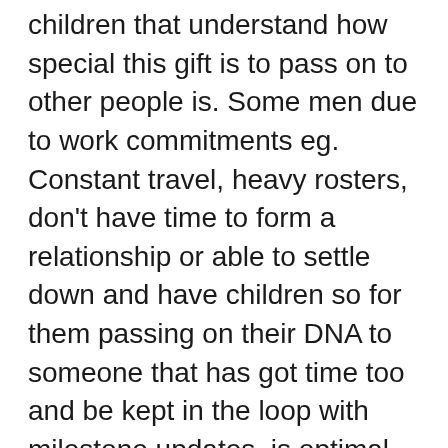children that understand how special this gift is to pass on to other people is. Some men due to work commitments eg. Constant travel, heavy rosters, don't have time to form a relationship or able to settle down and have children so for them passing on their DNA to someone that has got time too and be kept in the loop with milestone updates, is optimal for them. Then there is men that have been unlucky in love, that have given up hope in finding a partner and just want to continue on the family blood line in this unique situation. Other go a step further and seeking Co-parenting this is common for single men